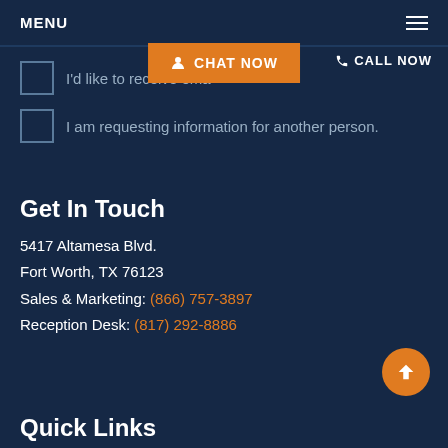MENU
I'd like to receive ema...
CHAT NOW
CALL NOW
I am requesting information for another person.
Get In Touch
5417 Altamesa Blvd.
Fort Worth, TX 76123
Sales & Marketing: (866) 757-3897
Reception Desk: (817) 292-8886
Quick Links